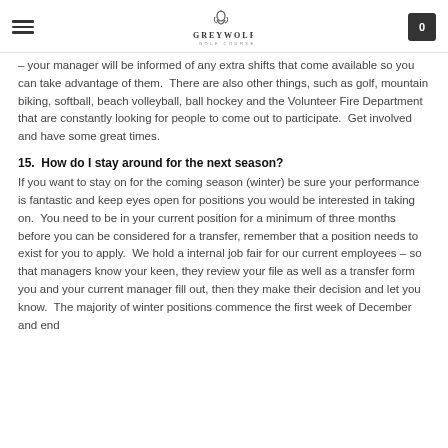Greywolf Golf Course
– your manager will be informed of any extra shifts that come available so you can take advantage of them.  There are also other things, such as golf, mountain biking, softball, beach volleyball, ball hockey and the Volunteer Fire Department that are constantly looking for people to come out to participate.  Get involved and have some great times.
15.  How do I stay around for the next season?
If you want to stay on for the coming season (winter) be sure your performance is fantastic and keep eyes open for positions you would be interested in taking on.  You need to be in your current position for a minimum of three months before you can be considered for a transfer, remember that a position needs to exist for you to apply.  We hold a internal job fair for our current employees – so that managers know your keen, they review your file as well as a transfer form you and your current manager fill out, then they make their decision and let you know.  The majority of winter positions commence the first week of December and end